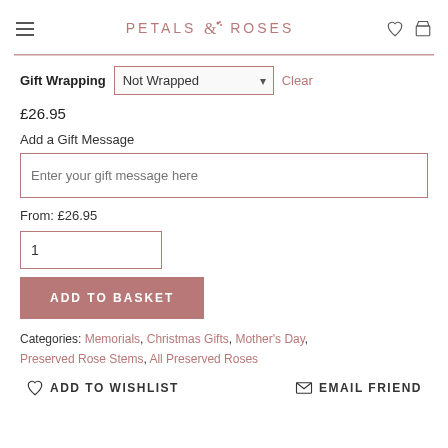PETALS & ROSES
Gift Wrapping  Not Wrapped  Clear
£26.95
Add a Gift Message
Enter your gift message here
From: £26.95
1
ADD TO BASKET
Categories: Memorials, Christmas Gifts, Mother's Day, Preserved Rose Stems, All Preserved Roses
ADD TO WISHLIST  EMAIL FRIEND